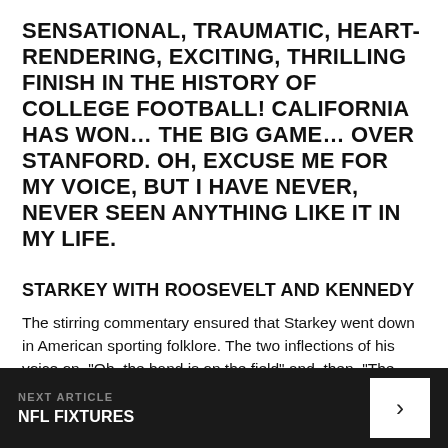SENSATIONAL, TRAUMATIC, HEART-RENDERING, EXCITING, THRILLING FINISH IN THE HISTORY OF COLLEGE FOOTBALL! CALIFORNIA HAS WON… THE BIG GAME… OVER STANFORD. OH, EXCUSE ME FOR MY VOICE, BUT I HAVE NEVER, NEVER SEEN ANYTHING LIKE IT IN MY LIFE.
STARKEY WITH ROOSEVELT AND KENNEDY
The stirring commentary ensured that Starkey went down in American sporting folklore. The two inflections of his voice on, "Oh, the band is on the field" and, then, "The Bears have won", captured quite perfectly both the
NEXT ARTICLE
NFL FIXTURES